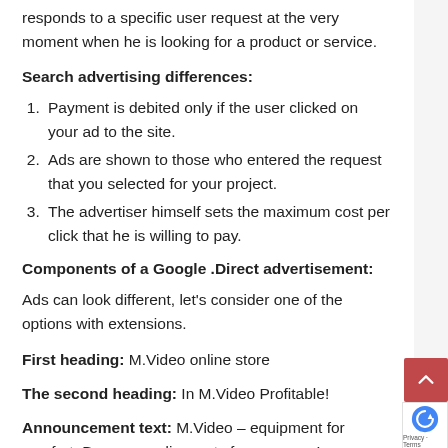responds to a specific user request at the very moment when he is looking for a product or service.
Search advertising differences:
Payment is debited only if the user clicked on your ad to the site.
Ads are shown to those who entered the request that you selected for your project.
The advertiser himself sets the maximum cost per click that he is willing to pay.
Components of a Google .Direct advertisement:
Ads can look different, let's consider one of the options with extensions.
First heading: M.Video online store
The second heading: In M.Video Profitable!
Announcement text: M.Video – equipment for comfort. Bonuses + discounts for everyone!